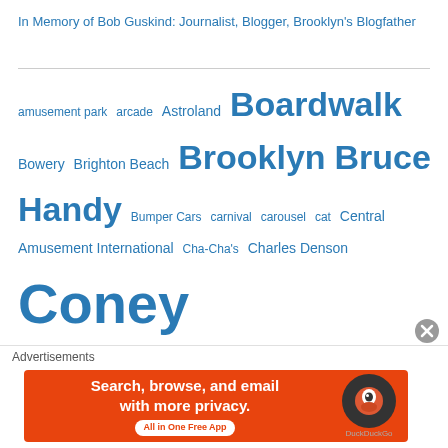In Memory of Bob Guskind: Journalist, Blogger, Brooklyn's Blogfather
amusement park arcade Astroland Boardwalk Bowery Brighton Beach Brooklyn Bruce Handy Bumper Cars carnival carousel cat Central Amusement International Cha-Cha's Charles Denson Coney Island Coney Island Arcade Coney Island Boardwalk Coney Island History Project Coney Island Polar Bear Club Coney Island Redevelopment Coney Island USA Cyclone demolition Deno's Wonder Wheel Park Dick Zigun documentary Eldorado Eric Kowalsky fireworks flamingos free event Hurricane Sandy Jim...
Advertisements
[Figure (screenshot): DuckDuckGo advertisement banner: orange background with text 'Search, browse, and email with more privacy. All in One Free App' and DuckDuckGo duck logo on dark circle background]